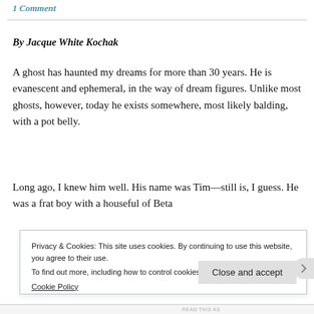1 Comment
By Jacque White Kochak
A ghost has haunted my dreams for more than 30 years. He is evanescent and ephemeral, in the way of dream figures. Unlike most ghosts, however, today he exists somewhere, most likely balding, with a pot belly.
Long ago, I knew him well. His name was Tim—still is, I guess. He was a frat boy with a houseful of Beta
Privacy & Cookies: This site uses cookies. By continuing to use this website, you agree to their use.
To find out more, including how to control cookies, see here:
Cookie Policy
Close and accept